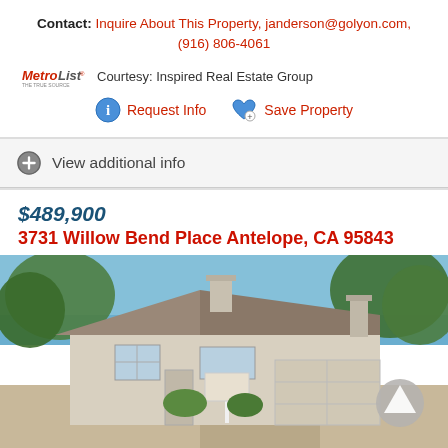Contact: Inquire About This Property, janderson@golyon.com, (916) 806-4061
MetroList Courtesy: Inspired Real Estate Group
Request Info  Save Property
View additional info
$489,900
3731 Willow Bend Place Antelope, CA 95843
[Figure (photo): Exterior photo of a single-story suburban home with two-car garage, gray roof, white siding, and a real estate sign in front. Trees visible in background and blue sky above.]